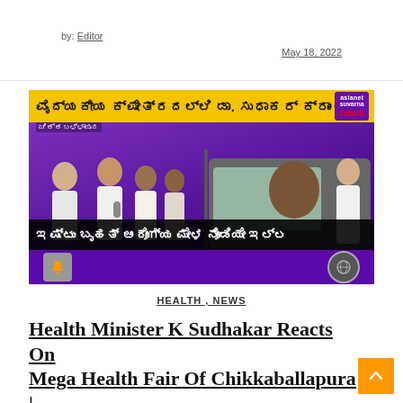by: Editor
May 18, 2022
[Figure (screenshot): Asianet Suvarna News TV screenshot showing Kannada-language news broadcast with headline text in Kannada about Dr. Sudhakar in the medical field. Shows politicians/public figures being interviewed outdoors. Bottom ticker in Kannada. Asianet Suvarna News logo visible top right.]
HEALTH , NEWS
Health Minister K Sudhakar Reacts On Mega Health Fair Of Chikkaballapura |